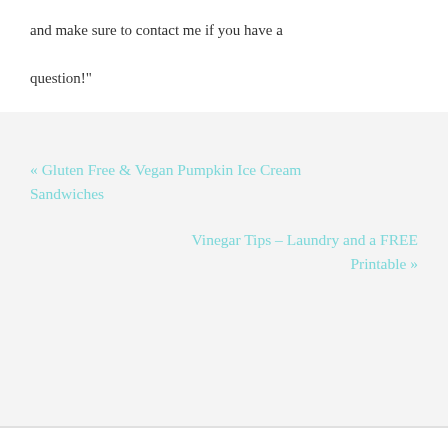and make sure to contact me if you have a question!"
« Gluten Free & Vegan Pumpkin Ice Cream Sandwiches
Vinegar Tips – Laundry and a FREE Printable »